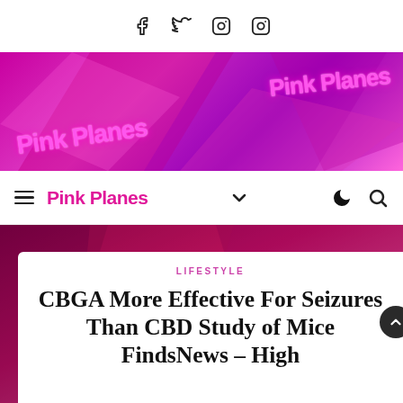Social icons: Facebook, Twitter, Instagram, Instagram
[Figure (photo): Pink Planes branded pink boxes with neon pink lighting and 'Pink Planes' cursive logo text on the boxes]
Navigation bar: hamburger menu, Pink Planes logo, chevron down, moon/dark mode icon, search icon
[Figure (photo): Pink and magenta metallic abstract background behind article card]
LIFESTYLE
CBGA More Effective For Seizures Than CBD Study of Mice FindsNews – High